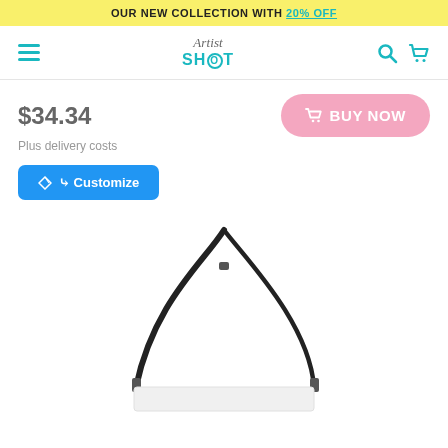OUR NEW COLLECTION WITH 20% OFF
[Figure (logo): ArtistShot logo with hamburger menu, search and cart icons]
$34.34
Plus delivery costs
BUY NOW
Customize
[Figure (photo): White tote bag with black leather shoulder strap shown against white background]